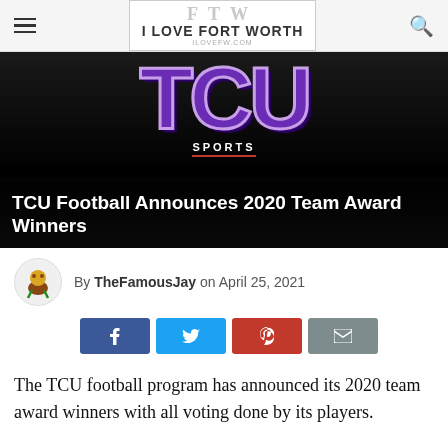I LOVE FORT WORTH
[Figure (photo): TCU logo with large purple TCU letters on black background, with SPORTS label below]
TCU Football Announces 2020 Team Award Winners
By TheFamousJay on April 25, 2021
[Figure (infographic): Social share buttons: Facebook, Twitter, Pinterest, Email]
The TCU football program has announced its 2020 team award winners with all voting done by its players.